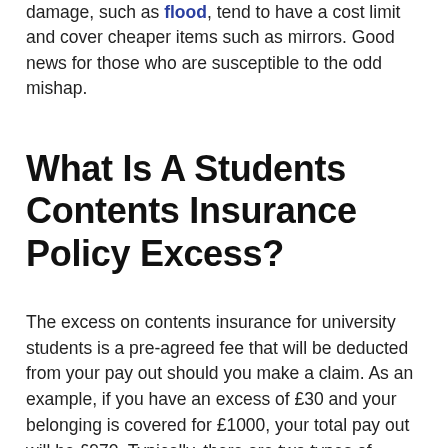damage, such as flood, tend to have a cost limit and cover cheaper items such as mirrors. Good news for those who are susceptible to the odd mishap.
What Is A Students Contents Insurance Policy Excess?
The excess on contents insurance for university students is a pre-agreed fee that will be deducted from your pay out should you make a claim. As an example, if you have an excess of £30 and your belonging is covered for £1000, your total pay out will be £970. Typically, there are two types of insurance excess – voluntary and compulsory. Ensure that you're fully clued up on your insurance policy excess before signing off on